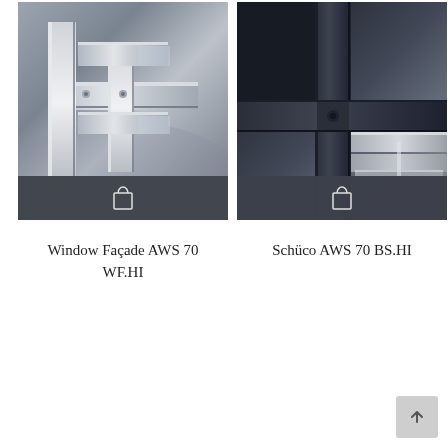[Figure (photo): Product card showing Window Façade AWS 70 WF.HI — aluminum window facade cross-section profile in silver/gray tones with shopping bag icon overlay at bottom]
Window Façade AWS 70 WF.HI
[Figure (photo): Product card showing Schüco AWS 70 BS.HI — dark framed window cross-section profile with black and gray tones, showing rubber seals and aluminum profiles, with shopping bag icon overlay at bottom]
Schüco AWS 70 BS.HI